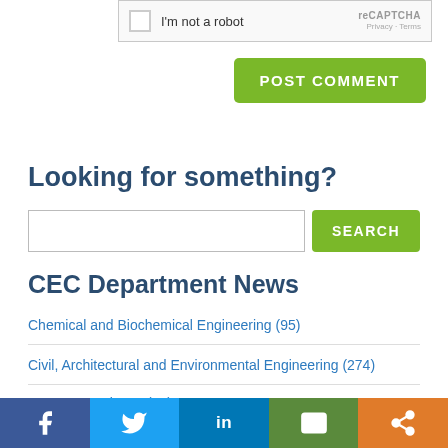[Figure (screenshot): reCAPTCHA widget with checkbox labeled 'I'm not a robot' and reCAPTCHA logo with Privacy and Terms links]
[Figure (screenshot): Green 'POST COMMENT' button]
Looking for something?
[Figure (screenshot): Search input field with green SEARCH button]
CEC Department News
Chemical and Biochemical Engineering (95)
Civil, Architectural and Environmental Engineering (274)
Computer Science (98)
[Figure (screenshot): Social sharing bar with Facebook, Twitter, LinkedIn, Mail, and Share buttons]